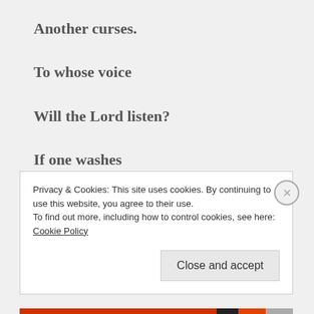Another curses.
To whose voice
Will the Lord listen?
If one washes
After touching a corpse,
Privacy & Cookies: This site uses cookies. By continuing to use this website, you agree to their use.
To find out more, including how to control cookies, see here: Cookie Policy
Close and accept